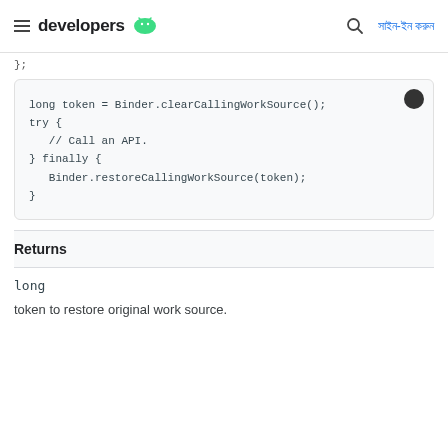developers | সাইন-ইন করুন
};
[Figure (screenshot): Code block showing: long token = Binder.clearCallingWorkSource(); try { // Call an API. } finally { Binder.restoreCallingWorkSource(token); }]
Returns
long
token to restore original work source.